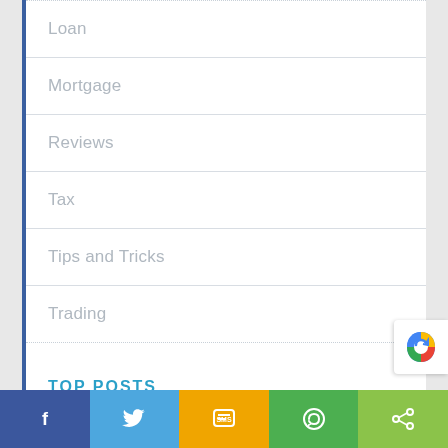Loan
Mortgage
Reviews
Tax
Tips and Tricks
Trading
TOP POSTS
[Figure (other): Social share bar with Facebook, Twitter, SMS, WhatsApp, and generic share buttons]